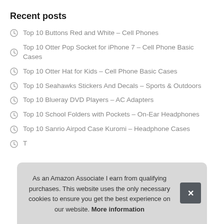Recent posts
Top 10 Buttons Red and White – Cell Phones
Top 10 Otter Pop Socket for iPhone 7 – Cell Phone Basic Cases
Top 10 Otter Hat for Kids – Cell Phone Basic Cases
Top 10 Seahawks Stickers And Decals – Sports & Outdoors
Top 10 Blueray DVD Players – AC Adapters
Top 10 School Folders with Pockets – On-Ear Headphones
Top 10 Sanrio Airpod Case Kuromi – Headphone Cases
T...
As an Amazon Associate I earn from qualifying purchases. This website uses the only necessary cookies to ensure you get the best experience on our website. More information